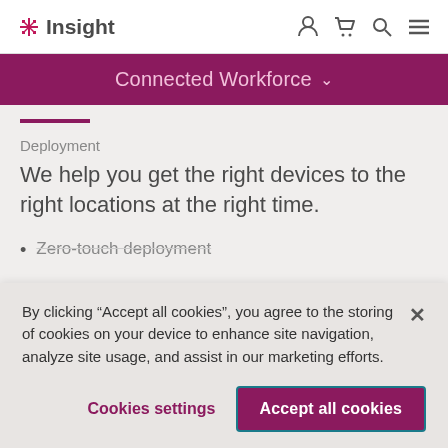Insight — Connected Workforce
Connected Workforce
Deployment
We help you get the right devices to the right locations at the right time.
Zero-touch deployment
By clicking “Accept all cookies”, you agree to the storing of cookies on your device to enhance site navigation, analyze site usage, and assist in our marketing efforts.
Cookies settings
Accept all cookies